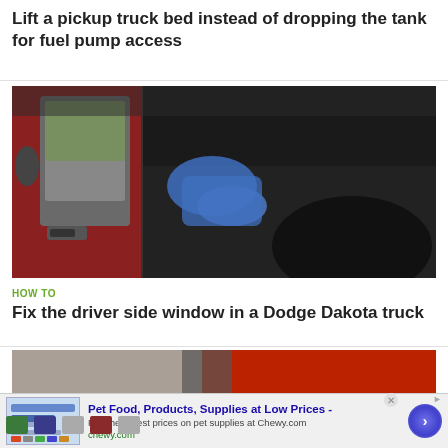Lift a pickup truck bed instead of dropping the tank for fuel pump access
[Figure (photo): Person in blue gloves working on the interior door panel of a red pickup truck, black dashboard visible]
HOW TO
Fix the driver side window in a Dodge Dakota truck
[Figure (photo): Partial view of a vehicle repair scene with red truck visible]
[Figure (infographic): Advertisement banner for Chewy.com: Pet Food, Products, Supplies at Low Prices - Pay the lowest prices on pet supplies at Chewy.com, chewy.com, with navigation arrow button]